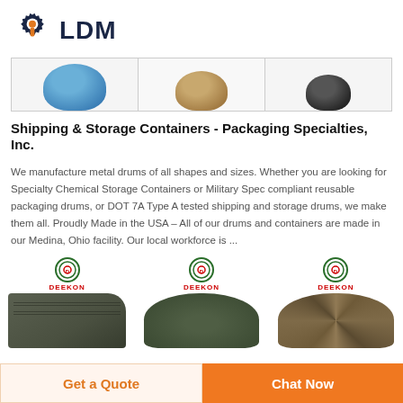[Figure (logo): LDM logo with gear icon and wrench/bolt symbol in orange and dark navy]
[Figure (photo): Strip of three product images: blue drum, tan/khaki drum, dark drum at top of page]
Shipping & Storage Containers - Packaging Specialties, Inc.
We manufacture metal drums of all shapes and sizes. Whether you are looking for Specialty Chemical Storage Containers or Military Spec compliant reusable packaging drums, or DOT 7A Type A tested shipping and storage drums, we make them all. Proudly Made in the USA - All of our drums and containers are made in our Medina, Ohio facility. Our local workforce is ...
[Figure (photo): Three Deekon-branded product images: military boot, olive cap, camouflage hat/boonie]
Get a Quote
Chat Now